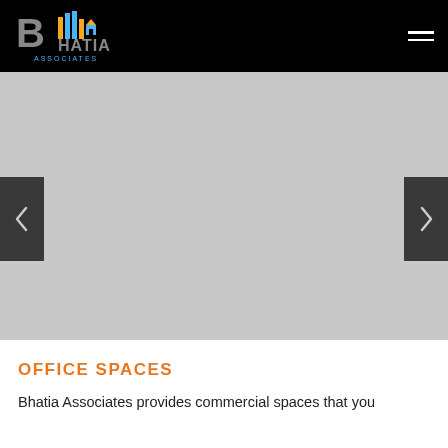Bhatia Associates
[Figure (photo): Gray placeholder image slider with left and right navigation arrow buttons on a light gray background.]
OFFICE SPACES
Bhatia Associates provides commercial spaces that you